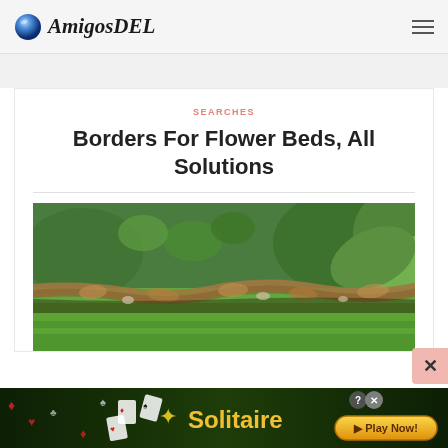AmigosDEL
SEARCHES
Borders For Flower Beds, All Solutions
[Figure (photo): Close-up photograph of a natural rope or stone border edging between a green lawn and a garden flower bed with lush green plants]
[Figure (screenshot): Advertisement banner for Solitaire game with dark green background, card game imagery, and a yellow Play Now button]